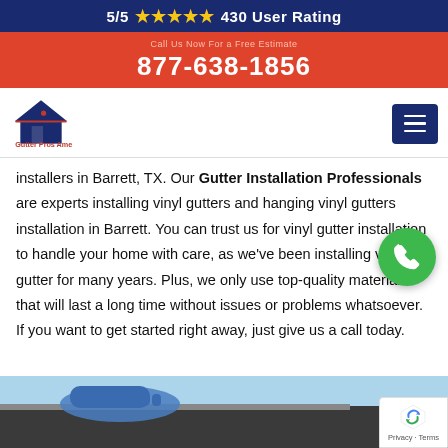5/5 ★★★★★ 430 User Rating
877-638-1856
[Figure (logo): Gutter Pros America logo with house icon]
installers in Barrett, TX. Our Gutter Installation Professionals are experts installing vinyl gutters and hanging vinyl gutters installation in Barrett. You can trust us for vinyl gutter installation to handle your home with care, as we've been installing vinyl gutter for many years. Plus, we only use top-quality materials that will last a long time without issues or problems whatsoever. If you want to get started right away, just give us a call today.
[Figure (photo): Person installing gutters on a roof, wearing blue gloves, sky visible in background]